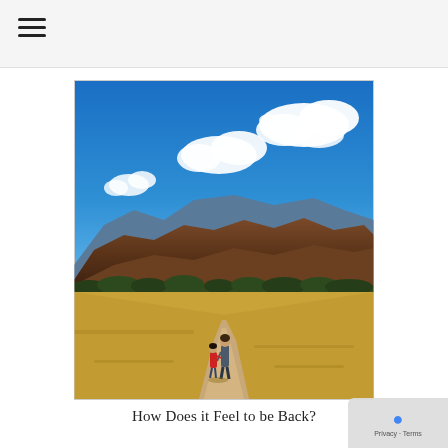☰ (menu icon)
[Figure (photo): Two people, an adult and a child, walking hand-in-hand away from the camera on a dirt trail through golden-grass terrain, with brown mountains and a vivid blue sky with white clouds in the background.]
How Does it Feel to be Back?